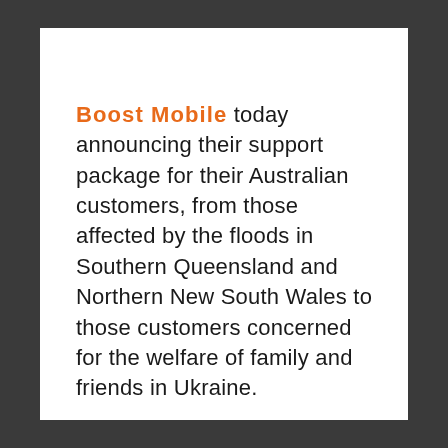Boost Mobile today announcing their support package for their Australian customers, from those affected by the floods in Southern Queensland and Northern New South Wales to those customers concerned for the welfare of family and friends in Ukraine.